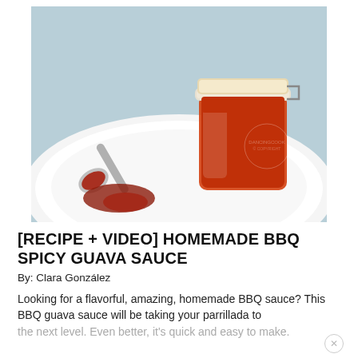[Figure (photo): A glass jar filled with dark red BBQ sauce, with a silver spoon resting on a white plate, sauce spilled from the spoon onto the plate. Light blue background.]
[RECIPE + VIDEO] HOMEMADE BBQ SPICY GUAVA SAUCE
By: Clara González
Looking for a flavorful, amazing, homemade BBQ sauce? This BBQ guava sauce will be taking your parrillada to the next level. Even better, it's quick and easy to make.